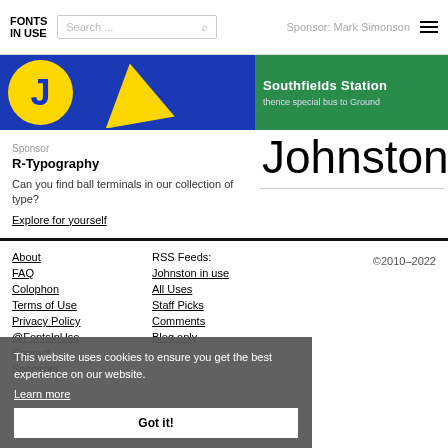FONTS IN USE | Search ... | Sponsor: Mark Simonson
[Figure (screenshot): Blue background image with yellow circle containing stylized letters, and a yellow arrow shape]
Sponsor
R-Typography
Can you find ball terminals in our collection of type?
Explore for yourself
[Figure (photo): Green sign reading 'Southfields Station thence special bus to Ground']
Johnston
About | FAQ | Colophon | Terms of Use | Privacy Policy | @FontsInUse | Contact | Sponsors | RSS Feeds: Johnston in use | All Uses | Staff Picks | Comments | Blog only | ©2010–2022
This website uses cookies to ensure you get the best experience on our website. Learn more  Got it!